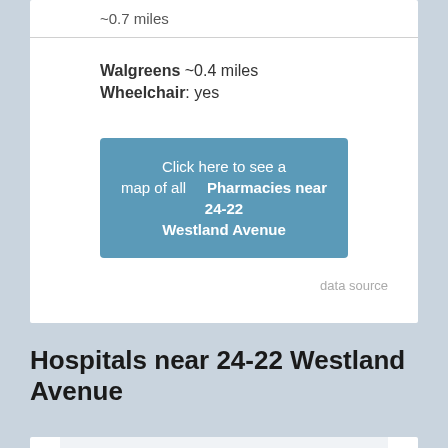~0.7 miles
Walgreens ~0.4 miles
Wheelchair: yes
Click here to see a map of all Pharmacies near 24-22 Westland Avenue
data source
Hospitals near 24-22 Westland Avenue
Seven hospitals near 24-22 Westland Avenue are displayed. Click the button below for additional information and a map